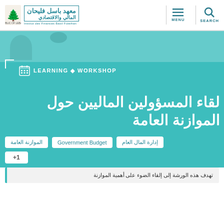معهد باسل فليحان المالي والاقتصادي | Institut des Finances Basil Fuleihan | MENU | SEARCH
[Figure (screenshot): Hero section with teal background showing a workshop page header with calendar icon, LEARNING • WORKSHOP tag, and Arabic title لقاء المسؤولين الماليين حول الموازنة العامة]
لقاء المسؤولين الماليين حول الموازنة العامة
LEARNING • WORKSHOP
الموازنة العامة
Government Budget
إدارة المال العام
+1
تهدف هذه الورشة إلى إلقاء الضوء على أهمية الموازنة